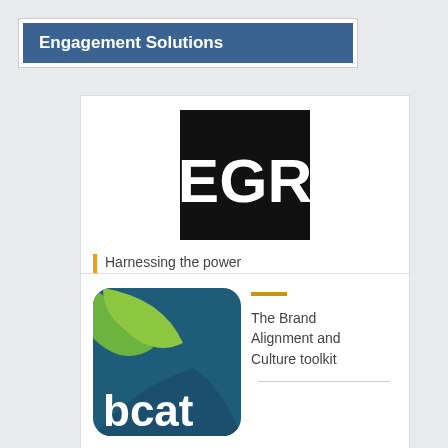Engagement Solutions
[Figure (logo): EGR logo — white letters EGR on black square background, with tagline 'Harnessing the power of inspiration' beside an orange vertical bar]
[Figure (logo): bcat logo — rounded square with teal and green swoosh shapes, white text 'bcat', with text 'The Brand Alignment and Culture toolkit' and gold dash accent]